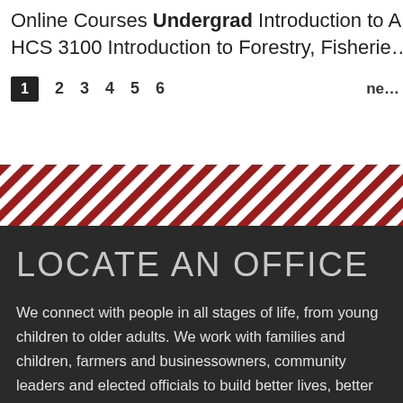Online Courses Undergrad Introduction to A… HCS 3100 Introduction to Forestry, Fisherie…
1 2 3 4 5 6 ne…
[Figure (other): Diagonal red and white stripe decorative band]
LOCATE AN OFFICE
We connect with people in all stages of life, from young children to older adults. We work with families and children, farmers and businessowners, community leaders and elected officials to build better lives, better businesses and better